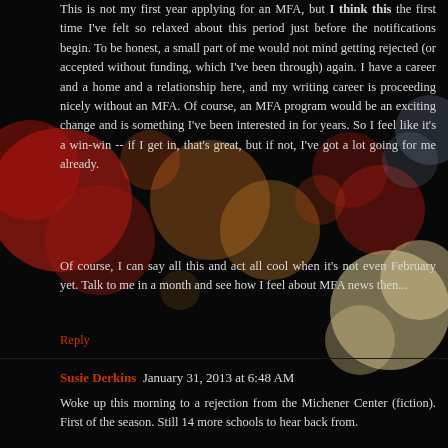This is not my first year applying for an MFA, but I think this the first time I've felt so relaxed about this period just before the notifications begin. To be honest, a small part of me would not mind getting rejected (or accepted without funding, which I've been through) again. I have a career and a home and a relationship here, and my writing career is proceeding nicely without an MFA. Of course, an MFA program would be an exciting change and is something I've been interested in for years. So I feel like it's a win-win -- if I get in, that's great, but if not, I've got a lot going for me already.
Of course, I can say all this and act all cool when it's not even February yet. Talk to me in a month and see how I feel about MFA news then...
Reply
Susie Derkins  January 31, 2013 at 6:48 AM
Woke up this morning to a rejection from the Michener Center (fiction). First of the season. Still 14 more schools to hear back from.